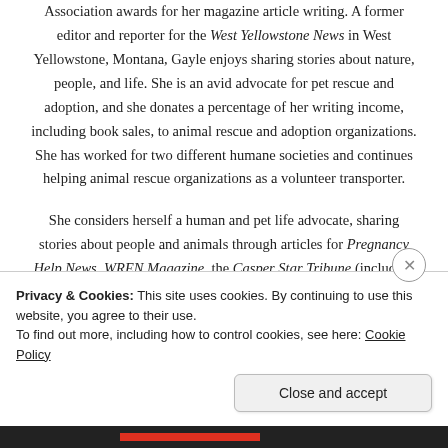Association awards for her magazine article writing. A former editor and reporter for the West Yellowstone News in West Yellowstone, Montana, Gayle enjoys sharing stories about nature, people, and life. She is an avid advocate for pet rescue and adoption, and she donates a percentage of her writing income, including book sales, to animal rescue and adoption organizations. She has worked for two different humane societies and continues helping animal rescue organizations as a volunteer transporter.
She considers herself a human and pet life advocate, sharing stories about people and animals through articles for Pregnancy Help News, WREN Magazine, the Casper Star Tribune (including children's stories in the kids' My Trib section), Creation Illustrated, and other
Privacy & Cookies: This site uses cookies. By continuing to use this website, you agree to their use.
To find out more, including how to control cookies, see here: Cookie Policy
Close and accept